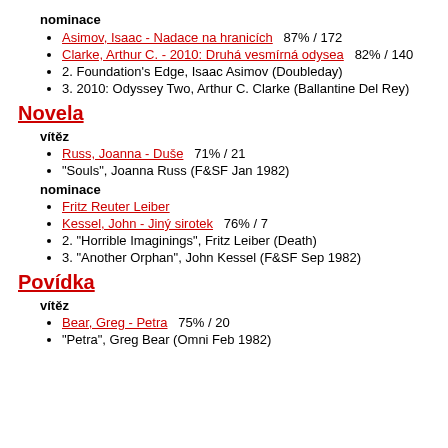nominace
Asimov, Isaac - Nadace na hranicích  87% / 172
Clarke, Arthur C. - 2010: Druhá vesmírná odysea  82% / 140
2. Foundation's Edge, Isaac Asimov (Doubleday)
3. 2010: Odyssey Two, Arthur C. Clarke (Ballantine Del Rey)
Novela
vítěz
Russ, Joanna - Duše  71% / 21
"Souls", Joanna Russ (F&SF Jan 1982)
nominace
Fritz Reuter Leiber
Kessel, John - Jiný sirotek  76% / 7
2. "Horrible Imaginings", Fritz Leiber (Death)
3. "Another Orphan", John Kessel (F&SF Sep 1982)
Povídka
vítěz
Bear, Greg - Petra  75% / 20
"Petra", Greg Bear (Omni Feb 1982)